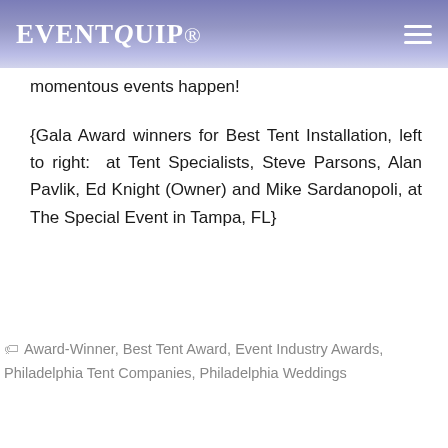EventQuip
momentous events happen!
{Gala Award winners for Best Tent Installation, left to right:  at Tent Specialists, Steve Parsons, Alan Pavlik, Ed Knight (Owner) and Mike Sardanopoli, at The Special Event in Tampa, FL}
Award-Winner, Best Tent Award, Event Industry Awards, Philadelphia Tent Companies, Philadelphia Weddings